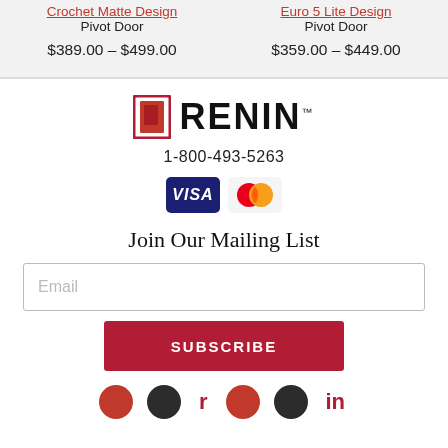Pivot Door
$389.00 – $499.00
Pivot Door
$359.00 – $449.00
[Figure (logo): RENIN brand logo with red door icon and bold text]
1-800-493-5263
[Figure (infographic): VISA and Mastercard payment icons]
Join Our Mailing List
Email
SUBSCRIBE
[Figure (infographic): Social media icons at bottom of page]